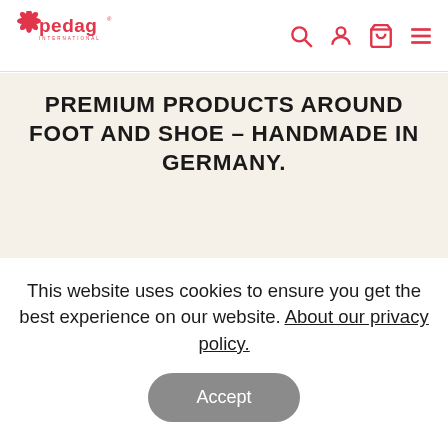[Figure (logo): Pedag International logo in red with flower icon and brand name]
[Figure (screenshot): Navigation icons: search, account, cart, and hamburger menu in red]
PREMIUM PRODUCTS AROUND FOOT AND SHOE – HANDMADE IN GERMANY.
[Figure (photo): Pedag leather wax product tin partially visible at bottom of hero image area with cream background]
This website uses cookies to ensure you get the best experience on our website. About our privacy policy.
Accept